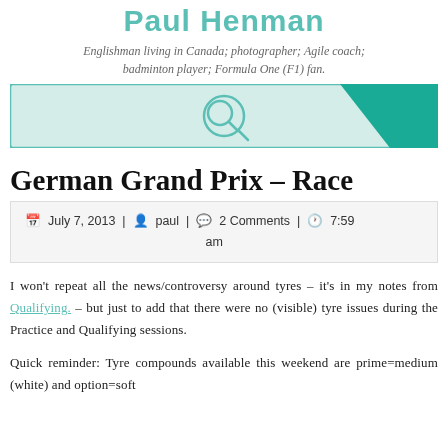Paul Henman
Englishman living in Canada; photographer; Agile coach; badminton player; Formula One (F1) fan.
[Figure (other): Search bar with teal background and magnifying glass icon]
German Grand Prix – Race
July 7, 2013 | paul | 2 Comments | 7:59 am
I won't repeat all the news/controversy around tyres – it's in my notes from Qualifying. – but just to add that there were no (visible) tyre issues during the Practice and Qualifying sessions.
Quick reminder: Tyre compounds available this weekend are prime=medium (white) and option=soft